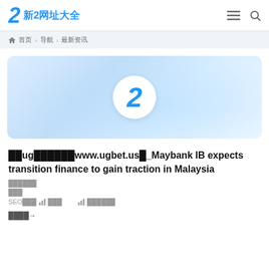新2网址大全
🏠 首页 > 导航 > 最新资讯
[Figure (logo): Banner with a large blue italic '2' numeral on a circular white badge, against a blue gradient background]
██ug██████www.ugbet.us█_Maybank IB expects transition finance to gain traction in Malaysia
██████
███
SEO███ 📊 ███      📊 ██████
████→